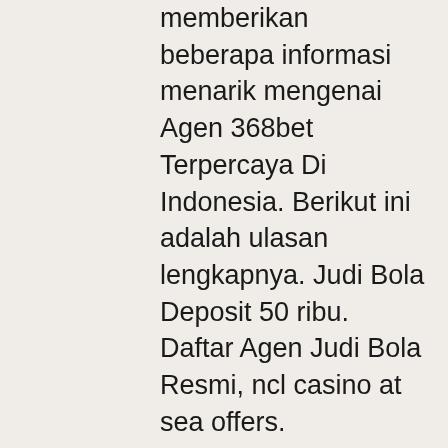memberikan beberapa informasi menarik mengenai Agen 368bet Terpercaya Di Indonesia. Berikut ini adalah ulasan lengkapnya. Judi Bola Deposit 50 ribu. Daftar Agen Judi Bola Resmi, ncl casino at sea offers.
Erhalten Sie Bonus Vereinigte Staaten, ncl casino at sea offers.
Check the bonus terms and conditions for eligibility. Can you play for free at Royal Ace casino? Play for free and win real money, as you can request a $100 withdrawal. Make sure your previous transaction was a deposit and not a free bonus! Have fun and play responsibly, ncl casino at sea offers.
Lucky red casino sign in
Speedy global education : 1-on-1 basic english tutorial program. X-mas discount 10% for all countries. ⬛ special offer ended on 24th december 2021. Join our cruise casino club, blue chip club and enjoy an